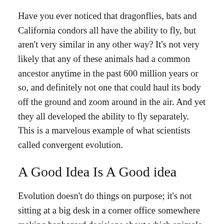Have you ever noticed that dragonflies, bats and California condors all have the ability to fly, but aren't very similar in any other way? It's not very likely that any of these animals had a common ancestor anytime in the past 600 million years or so, and definitely not one that could haul its body off the ground and zoom around in the air. And yet they all developed the ability to fly separately. This is a marvelous example of what scientists called convergent evolution.
A Good Idea Is A Good idea
Evolution doesn't do things on purpose; it's not sitting at a big desk in a corner office somewhere making haphazard decisions about which animals lay eggs or get pouches on their tummies. Evolution is the process of organisms changing over the course of many generations to suit the conditions under which they live. And some traits, like